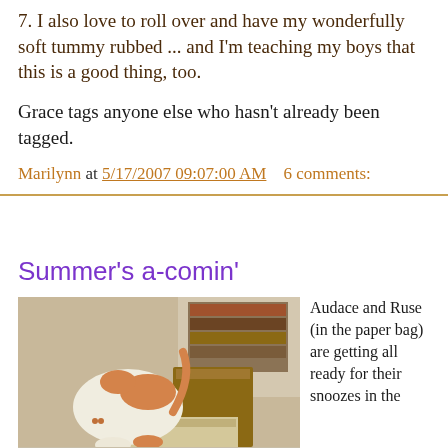7. I also love to roll over and have my wonderfully soft tummy rubbed ... and I'm teaching my boys that this is a good thing, too.
Grace tags anyone else who hasn't already been tagged.
Marilynn at 5/17/2007 09:07:00 AM    6 comments:
Summer's a-comin'
[Figure (photo): An orange and white cat standing on boxes and bags near a bookshelf, with a paper bag nearby]
Audace and Ruse (in the paper bag) are getting all ready for their snoozes in the